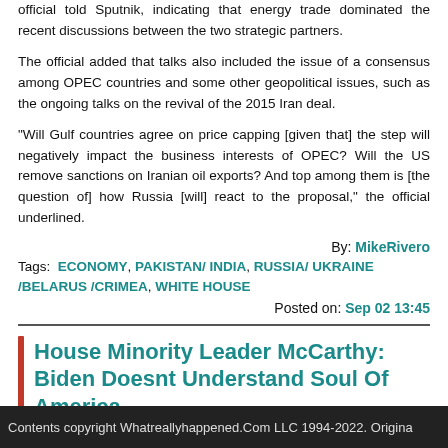official told Sputnik, indicating that energy trade dominated the recent discussions between the two strategic partners.
The official added that talks also included the issue of a consensus among OPEC countries and some other geopolitical issues, such as the ongoing talks on the revival of the 2015 Iran deal.
“Will Gulf countries agree on price capping [given that] the step will negatively impact the business interests of OPEC? Will the US remove sanctions on Iranian oil exports? And top among them is [the question of] how Russia [will] react to the proposal,” the official underlined.
By: MikeRivero
Tags: ECONOMY, PAKISTAN/ INDIA, RUSSIA/ UKRAINE /BELARUS /CRIMEA, WHITE HOUSE
Posted on: Sep 02 13:45
House Minority Leader McCarthy: Biden Doesnt Understand Soul Of America
Contents copyright Whatreallyhappened.Com LLC 1994-2022. Origina